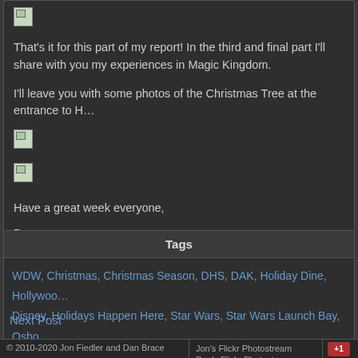[Figure (illustration): Broken image placeholder thumbnail]
That’s it for this part of my report! In the third and final part I’ll share with you my experiences in Magic Kingdom.
I’ll leave you with some photos of the Christmas Tree at the entrance to H…
[Figure (illustration): Broken image placeholder thumbnail]
[Figure (illustration): Broken image placeholder thumbnail]
Have a great week everyone,
Dan.
Tags
WDW, Christmas, Christmas Season, DHS, DAK, Holiday Dine, Hollywoo… Disney, Holidays Happen Here, Star Wars, Star Wars Launch Bay, Osbo…
Next Post
© 2010-2020 Jon Fiedler and Dan Brace | Jon’s Flickr Photostream | Dan’s Flickr Photostream